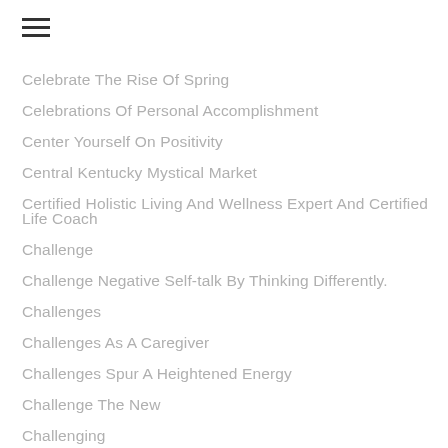Celebrate The Rise Of Spring
Celebrations Of Personal Accomplishment
Center Yourself On Positivity
Central Kentucky Mystical Market
Certified Holistic Living And Wellness Expert And Certified Life Coach
Challenge
Challenge Negative Self-talk By Thinking Differently.
Challenges
Challenges As A Caregiver
Challenges Spur A Heightened Energy
Challenge The New
Challenging
Challenging Beyond The Norm
Challenging Circumstances
Challenging Circumstances Are An Opportunity
Challenging Coronavirus 19
Challenging Coronavirus 19 Pandemic